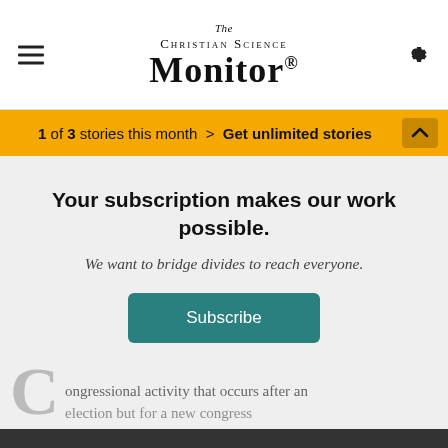The Christian Science Monitor
1 of 3 stories this month > Get unlimited stories
Your subscription makes our work possible.
We want to bridge divides to reach everyone.
Subscribe
ongressional activity that occurs after an election but before a new congress
This website uses cookies to improve functionality and performance. By continuing to browse the site you are agreeing to our use of cookies.